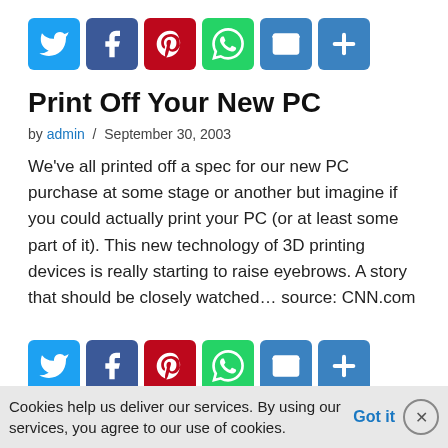[Figure (infographic): Social share buttons row: Twitter (blue), Facebook (dark blue), Pinterest (red), WhatsApp (green), Email (blue), More/Plus (blue)]
Print Off Your New PC
by admin / September 30, 2003
We've all printed off a spec for our new PC purchase at some stage or another but imagine if you could actually print your PC (or at least some part of it). This new technology of 3D printing devices is really starting to raise eyebrows. A story that should be closely watched… source: CNN.com
[Figure (infographic): Social share buttons row (bottom): Twitter (blue), Facebook (dark blue), Pinterest (red), WhatsApp (green), Email (blue), More/Plus (blue)]
Cookies help us deliver our services. By using our services, you agree to our use of cookies. Got it